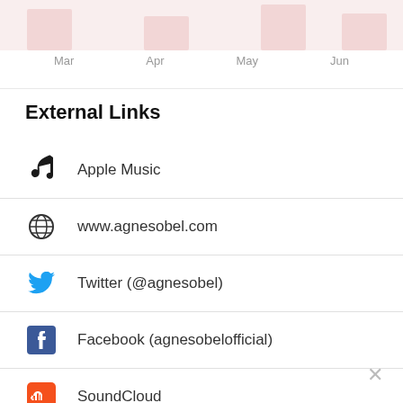[Figure (continuous-plot): Partial view of a chart at the top of the page showing pink/rose colored bars at the top, cropped]
Mar    Apr    May    Jun
External Links
Apple Music
www.agnesobel.com
Twitter (@agnesobel)
Facebook (agnesobelofficial)
SoundCloud